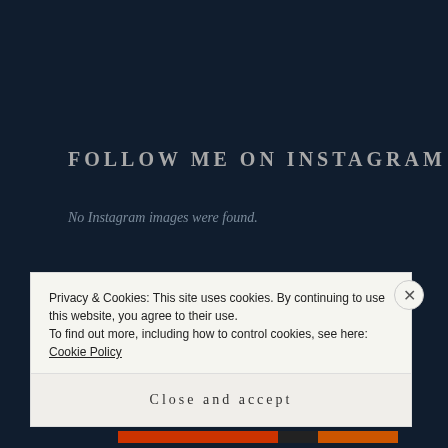FOLLOW ME ON INSTAGRAM
No Instagram images were found.
FOLLOW ME ON TWITTER
Privacy & Cookies: This site uses cookies. By continuing to use this website, you agree to their use.
To find out more, including how to control cookies, see here: Cookie Policy
Close and accept